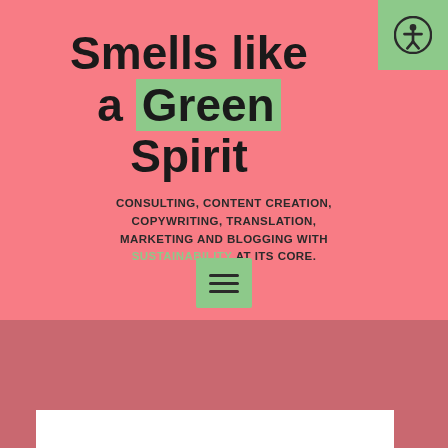Smells like a Green Spirit
CONSULTING, CONTENT CREATION, COPYWRITING, TRANSLATION, MARKETING AND BLOGGING WITH SUSTAINABILITY AT ITS CORE.
[Figure (other): Hamburger menu button (three horizontal lines) on a green square background]
[Figure (other): Accessibility icon (person in circle) on green square background in top-right corner]
[Figure (photo): Lower portion of the page showing a muted rose/mauve textured background with a partial white rectangular box at the bottom and a pink object partially visible at the right edge]